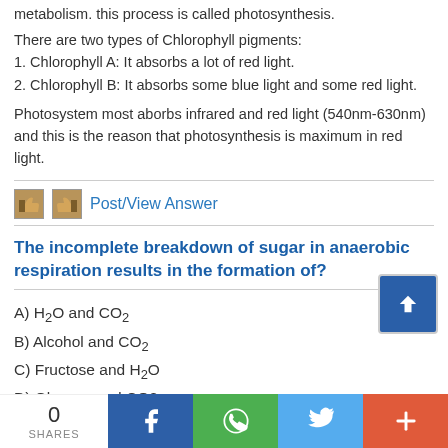metabolism. this process is called photosynthesis.
There are two types of Chlorophyll pigments:
1. Chlorophyll A: It absorbs a lot of red light.
2. Chlorophyll B: It absorbs some blue light and some red light.
Photosystem most aborbs infrared and red light (540nm-630nm) and this is the reason that photosynthesis is maximum in red light.
Post/View Answer
The incomplete breakdown of sugar in anaerobic respiration results in the formation of?
A) H₂O and CO₂
B) Alcohol and CO₂
C) Fructose and H₂O
D) Glucose and CO2
Correct Answer : Alcohol and CO₂
0 SHARES | Facebook | WhatsApp | Twitter | More